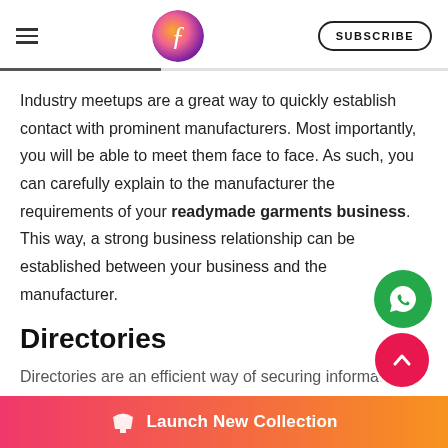SUBSCRIBE
Industry meetups are a great way to quickly establish contact with prominent manufacturers. Most importantly, you will be able to meet them face to face. As such, you can carefully explain to the manufacturer the requirements of your readymade garments business. This way, a strong business relationship can be established between your business and the manufacturer.
Directories
Directories are an efficient way of securing information
[Figure (other): WhatsApp floating action button (green circle with WhatsApp icon)]
[Figure (other): Scroll-to-top floating action button (red/pink circle with up arrow)]
[Figure (other): Launch New Collection button bar with shirt icon, gradient pink to orange background]